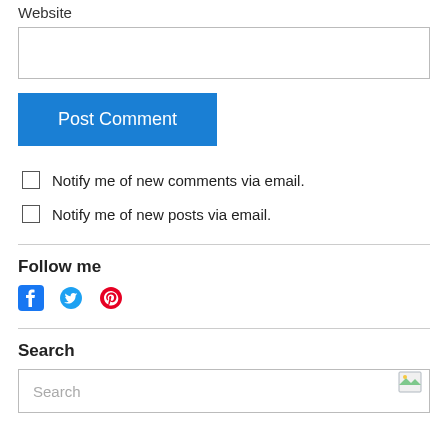Website
[Figure (screenshot): Empty website text input field]
[Figure (screenshot): Post Comment button (blue)]
Notify me of new comments via email.
Notify me of new posts via email.
Follow me
[Figure (other): Social media icons: Facebook, Twitter, Pinterest]
Search
[Figure (screenshot): Search input field with broken image icon and placeholder text 'Search']